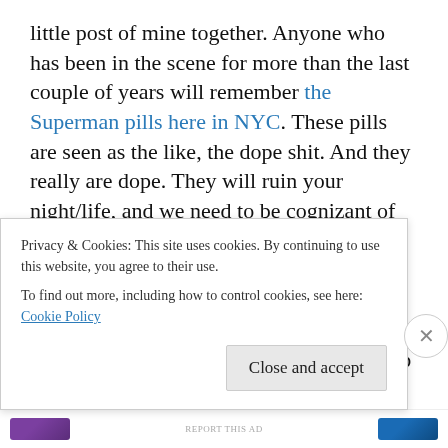little post of mine together. Anyone who has been in the scene for more than the last couple of years will remember the Superman pills here in NYC. These pills are seen as the like, the dope shit. And they really are dope. They will ruin your night/life, and we need to be cognizant of the fact that reputations when it comes to MDMA can be used against users. This is DanceSafe  advocates drug checking if you're really brave (stupid) enough to use these things. To note, besides a random trip report or two, this drug doesn't have a recreational following. No one is trying to score PMA, they just get it because their dealer is
Privacy & Cookies: This site uses cookies. By continuing to use this website, you agree to their use.
To find out more, including how to control cookies, see here: Cookie Policy